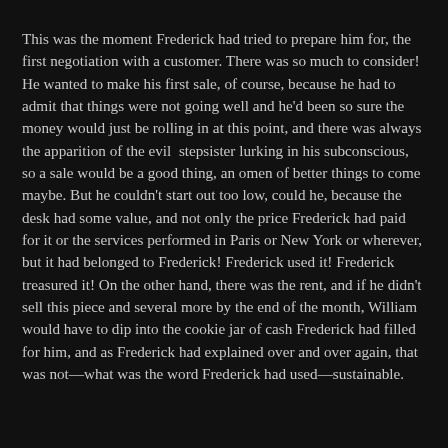This was the moment Frederick had tried to prepare him for, the first negotiation with a customer. There was so much to consider! He wanted to make his first sale, of course, because he had to admit that things were not going well and he'd been so sure the money would just be rolling in at this point, and there was always the apparition of the evil stepsister lurking in his subconscious, so a sale would be a good thing, an omen of better things to come maybe. But he couldn't start out too low, could he, because the desk had some value, and not only the price Frederick had paid for it or the services performed in Paris or New York or wherever, but it had belonged to Frederick! Frederick used it! Frederick treasured it! On the other hand, there was the rent, and if he didn't sell this piece and several more by the end of the month, William would have to dip into the cookie jar of cash Frederick had filled for him, and as Frederick had explained over and over again, that was not—what was the word Frederick had used—sustainable.